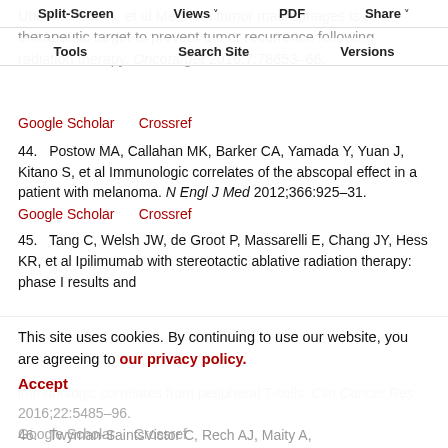Split-Screen  Views  PDF  Share
Tools  Search Site  Versions
Uhde L, Alice A, et al Mertk on tumor macrophages is a therapeutic target to prevent tumor recurrence following radiation therapy. Oncotarget 2016;7:78653–66.
Google Scholar    Crossref
44.   Postow MA, Callahan MK, Barker CA, Yamada Y, Yuan J, Kitano S, et al Immunologic correlates of the abscopal effect in a patient with melanoma. N Engl J Med 2012;366:925–31.
Google Scholar    Crossref
45.   Tang C, Welsh JW, de Groot P, Massarelli E, Chang JY, Hess KR, et al Ipilimumab with stereotactic ablative radiation therapy: phase I results and immunologic correlates from peripheral T-cells. Clin Cancer Res 2016;22:5485–96.
Google Scholar    Crossref
This site uses cookies. By continuing to use our website, you are agreeing to our privacy policy.
Accept
46.   Twyman-SaintsVictor C, Rech AJ, Maity A,